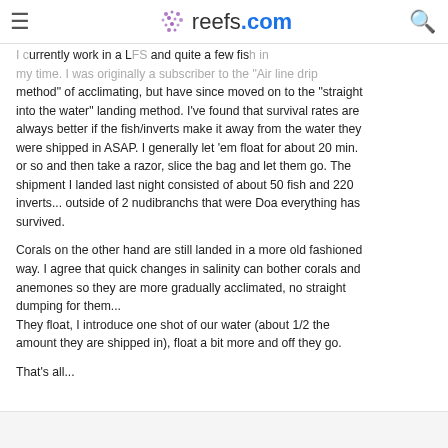reefs.com
I currently work in a LFS and quite a few fish in my time. I was originally a subscriber to the "Air line drip method" of acclimating, but have since moved on to the "straight into the water" landing method. I've found that survival rates are always better if the fish/inverts make it away from the water they were shipped in ASAP. I generally let 'em float for about 20 min. or so and then take a razor, slice the bag and let them go. The shipment I landed last night consisted of about 50 fish and 220 inverts... outside of 2 nudibranchs that were Doa everything has survived.
Corals on the other hand are still landed in a more old fashioned way. I agree that quick changes in salinity can bother corals and anemones so they are more gradually acclimated, no straight dumping for them...
They float, I introduce one shot of our water (about 1/2 the amount they are shipped in), float a bit more and off they go.
That's all...